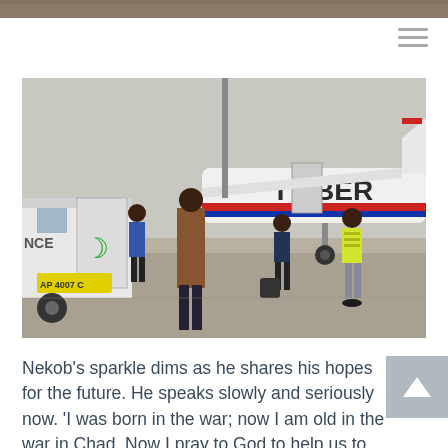[Figure (photo): People standing near a small propeller aircraft with registration TT-BER on a tarmac. An ambulance vehicle is visible on the left. One person wears a yellow safety vest. The scene appears to be at a small airport, possibly in Africa.]
Nekob's sparkle dims as he shares his hopes for the future. He speaks slowly and seriously now. 'I was born in the war; now I am old in the war in Chad. Now I pray to God to help us to make Chad better so for our sons there will